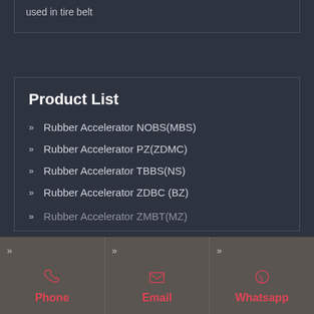used in tire belt
Product List
Rubber Accelerator NOBS(MBS)
Rubber Accelerator PZ(ZDMC)
Rubber Accelerator TBBS(NS)
Rubber Accelerator ZDBC (BZ)
Rubber Accelerator ZMBT(MZ)
Phone  Email  Whatsapp